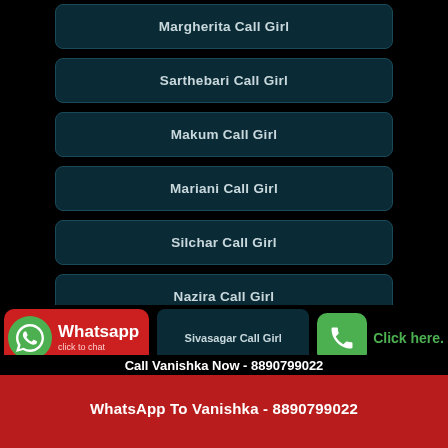Margherita Call Girl
Sarthebari Call Girl
Makum Call Girl
Mariani Call Girl
Silchar Call Girl
Nazira Call Girl
Nagaon Call Girl
Sivasagar Call Girl
Call Vanishka Now - 8890799022
WhatsApp To Vanishka - 8890799022